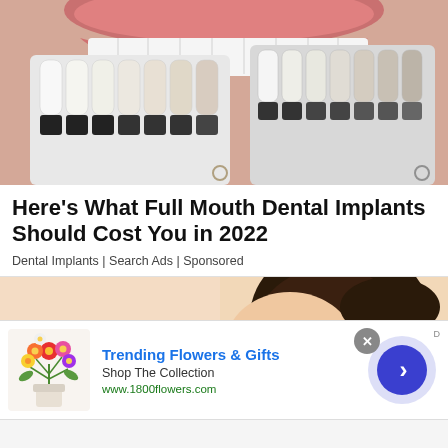[Figure (photo): Close-up photo of a person's smile with white teeth, alongside a dental shade guide showing multiple tooth color samples ranging from white to off-white, held against the face.]
Here's What Full Mouth Dental Implants Should Cost You in 2022
Dental Implants | Search Ads | Sponsored
[Figure (photo): Photo of a woman with dark hair pulled back, head tilted downward, on a light peach/beige background.]
[Figure (photo): Advertisement banner: Trending Flowers & Gifts - Shop The Collection - www.1800flowers.com, with a bouquet of colorful flowers image on the left and a blue circular arrow button on the right.]